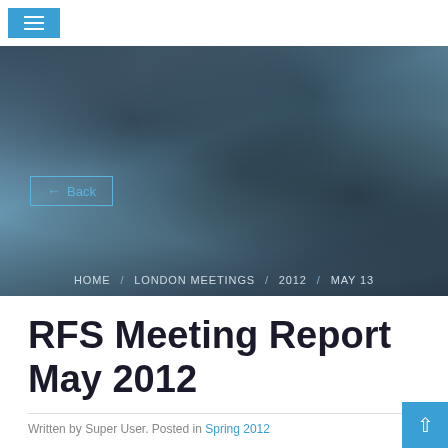≡ (hamburger menu)
[Figure (photo): Industrial or warehouse interior photo viewed from above, dark tones with blue-grey palette, showing structural elements]
← Back
HOME / LONDON MEETINGS / 2012 / MAY 13
RFS Meeting Report May 2012
Written by Super User. Posted in Spring 2012